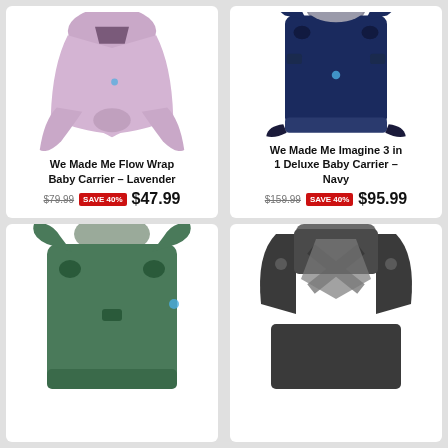[Figure (photo): We Made Me Flow Wrap Baby Carrier in Lavender color - a fabric wrap-style baby carrier tied at the front]
We Made Me Flow Wrap Baby Carrier – Lavender
$79.99 SAVE 40% $47.99
[Figure (photo): We Made Me Imagine 3 in 1 Deluxe Baby Carrier in Navy color - a structured navy blue baby carrier with buckles]
We Made Me Imagine 3 in 1 Deluxe Baby Carrier – Navy
$159.99 SAVE 40% $95.99
[Figure (photo): Baby carrier in green color - partially visible at bottom of page]
[Figure (photo): Baby carrier in dark grey/charcoal color - partially visible at bottom of page]